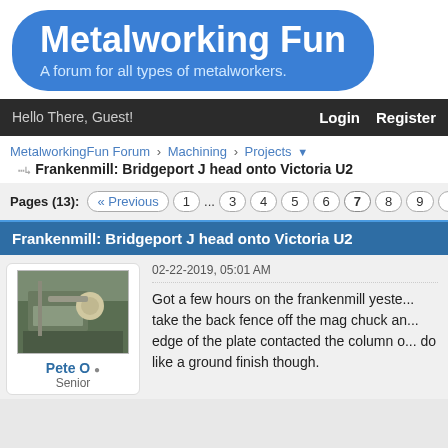[Figure (logo): Metalworking Fun logo: blue rounded pill shape with white bold text 'Metalworking Fun' and subtitle 'A forum for all types of metalworkers.']
Hello There, Guest!  Login  Register
MetalworkingFun Forum › Machining › Projects ▼
Frankenmill: Bridgeport J head onto Victoria U2
Pages (13): « Previous 1 ... 3 4 5 6 7 8 9 10 11 ... 13 N
Frankenmill: Bridgeport J head onto Victoria U2
02-22-2019, 05:01 AM
[Figure (photo): Avatar photo of user Pete O showing a metalworking machine/milling setup]
Pete O
Senior
Got a few hours on the frankenmill yeste... take the back fence off the mag chuck an... edge of the plate contacted the column o... do like a ground finish though.